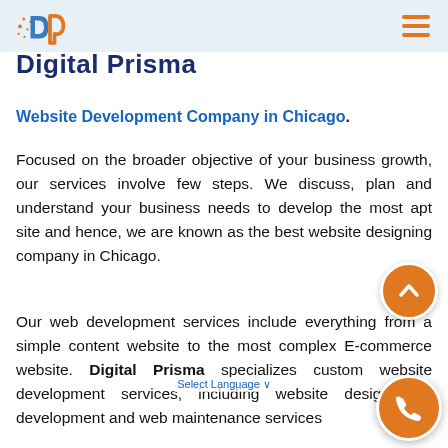Digital Prisma logo and navigation header
Digital Prisma
Website Development Company in Chicago.
Focused on the broader objective of your business growth, our services involve few steps. We discuss, plan and understand your business needs to develop the most apt site and hence, we are known as the best website designing company in Chicago.
Our web development services include everything from a simple content website to the most complex E-commerce website. Digital Prisma specializes custom website development services, including website design and development and web maintenance services